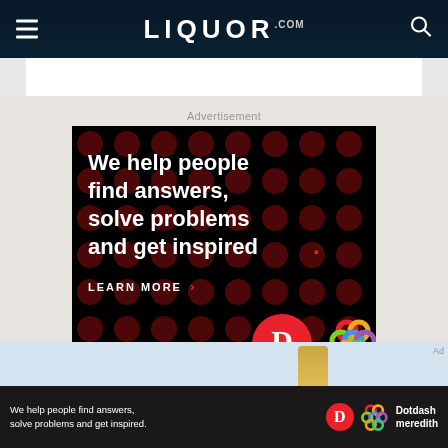LIQUOR.COM
Advertisement
[Figure (screenshot): Dotdash Meredith advertisement on black background with dark red dot pattern. Text reads: 'We help people find answers, solve problems and get inspired.' with a red period. 'LEARN MORE' with arrow. Dotdash D logo in red circle and Dotdash Meredith colorful knot logo on bottom right.]
[Figure (screenshot): Bottom sticky ad bar on dark background: 'We help people find answers, solve problems and get inspired.' with Dotdash D logo and Dotdash Meredith colorful logo and text 'Dotdash meredith'.]